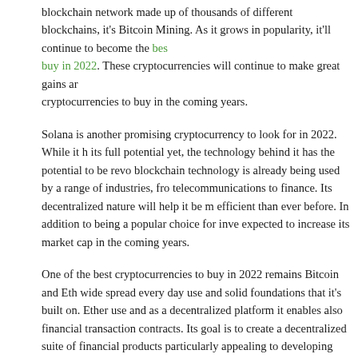blockchain network made up of thousands of different blockchains, it's Bitcoin Mining. As it grows in popularity, it'll continue to become the best crypto to buy in 2022. These cryptocurrencies will continue to make great gains and cryptocurrencies to buy in the coming years.
Solana is another promising cryptocurrency to look for in 2022. While it has not reached its full potential yet, the technology behind it has the potential to be revolutionary. Its blockchain technology is already being used by a range of industries, from telecommunications to finance. Its decentralized nature will help it be more efficient than ever before. In addition to being a popular choice for investors, it's expected to increase its market cap in the coming years.
One of the best cryptocurrencies to buy in 2022 remains Bitcoin and Ethereum due to wide spread every day use and solid foundations that it's built on. Ethereum is easy to use and as a decentralized platform it enables also financial transactions and smart contracts. Its goal is to create a decentralized suite of financial products. This is particularly appealing to developing countries where the state's infrastructure is lacking. Moreover, it is a scalable cryptocurrency that will grow in value. However, one should consider the risks and rewards associated with it before investing in it.
Learn more about the 10 best cryptocurrencies to buy in 2022.